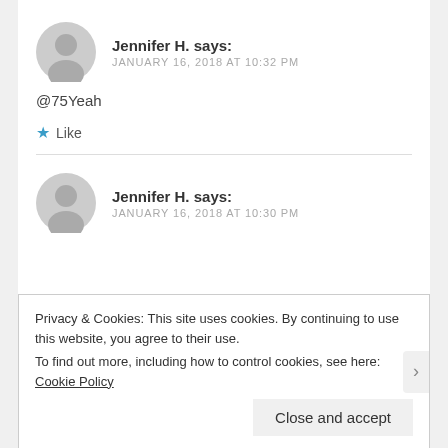Jennifer H. says:
JANUARY 16, 2018 AT 10:32 PM

@75Yeah

★ Like
Jennifer H. says:
JANUARY 16, 2018 AT 10:30 PM
Privacy & Cookies: This site uses cookies. By continuing to use this website, you agree to their use.
To find out more, including how to control cookies, see here: Cookie Policy

Close and accept